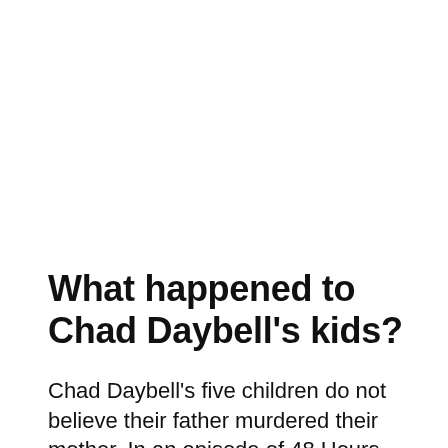What happened to Chad Daybell's kids?
Chad Daybell's five children do not believe their father murdered their mother. In an episode of 48 Hours, via CBS, Emma Murray